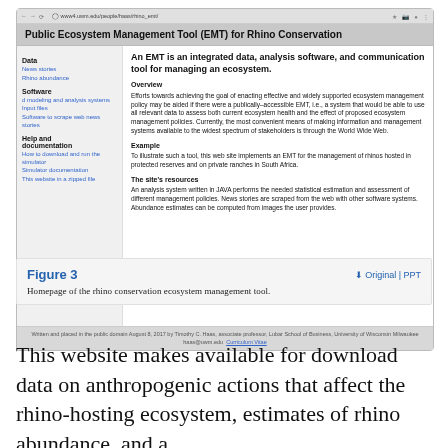[Figure (screenshot): Browser screenshot of the Public Ecosystem Management Tool (EMT) for Rhino Conservation website, showing navigation links on the left (Data, News stories, Rhino abundance, Software, d modeling and analysis systems, Input files, Software to scrape web news stories, Help and documentation, How to download and run the simulator, Simulator documentation, This website in a zipped file) and main content describing the EMT as an integrated data, analysis software, and communication tool for managing an ecosystem, with sections Overview, Example, and The site's resources.]
Figure 3
Homepage of the rhino conservation ecosystem management tool.
This website makes available for download data on anthropogenic actions that affect the rhino-hosting ecosystem, estimates of rhino abundance, and a